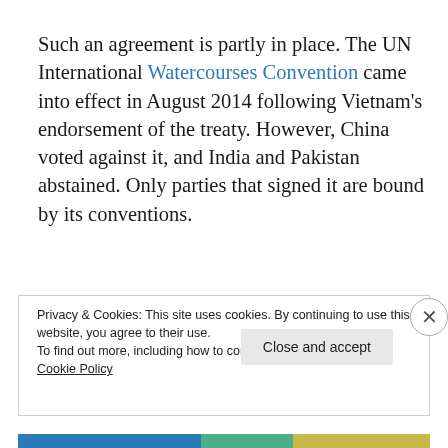Such an agreement is partly in place. The UN International Watercourses Convention came into effect in August 2014 following Vietnam's endorsement of the treaty. However, China voted against it, and India and Pakistan abstained. Only parties that signed it are bound by its conventions.
Privacy & Cookies: This site uses cookies. By continuing to use this website, you agree to their use. To find out more, including how to control cookies, see here: Cookie Policy